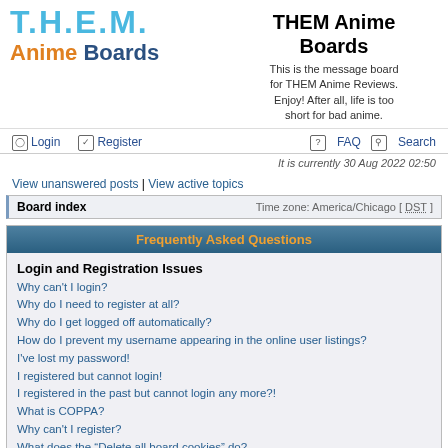[Figure (logo): T.H.E.M. Anime Boards logo with stylized text]
THEM Anime Boards
This is the message board for THEM Anime Reviews. Enjoy! After all, life is too short for bad anime.
Login | Register | FAQ | Search
It is currently 30 Aug 2022 02:50
View unanswered posts | View active topics
Board index   Time zone: America/Chicago [ DST ]
Frequently Asked Questions
Login and Registration Issues
Why can't I login?
Why do I need to register at all?
Why do I get logged off automatically?
How do I prevent my username appearing in the online user listings?
I've lost my password!
I registered but cannot login!
I registered in the past but cannot login any more?!
What is COPPA?
Why can't I register?
What does the “Delete all board cookies” do?
User Preferences and settings
How do I change my settings?